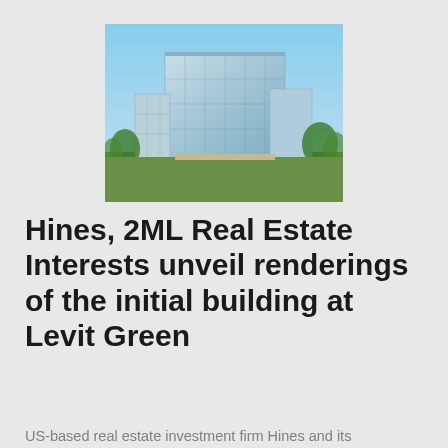[Figure (photo): Architectural rendering of a modern multi-story glass office building at Levit Green, viewed from ground level with blue sky background and green lawn.]
Hines, 2ML Real Estate Interests unveil renderings of the initial building at Levit Green
US-based real estate investment firm Hines and its development partner 2ML Real Estate Interests have unveiled the first version of the first building at Levit Green.
[Figure (photo): Architectural rendering of a multi-story mixed-use building at Levit Green with brick facade, large windows, and landscaping in the foreground.]